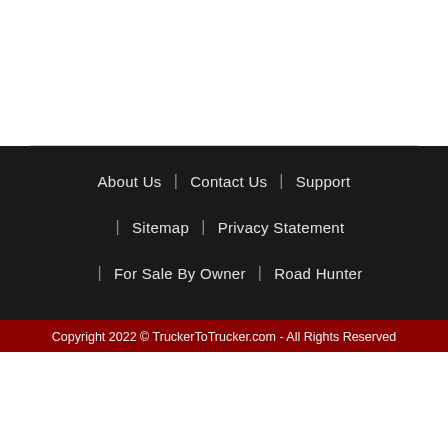About Us | Contact Us | Support | Sitemap | Privacy Statement | For Sale By Owner | Road Hunter
Copyright 2022 © TruckerToTrucker.com - All Rights Reserved